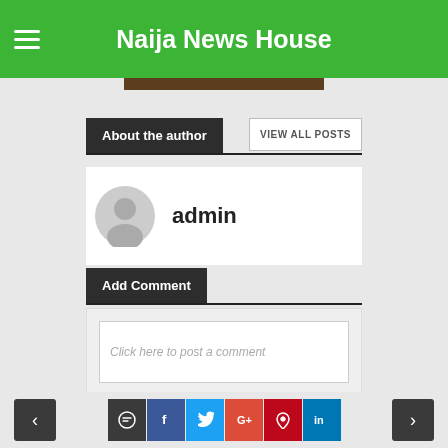Naija News House
About the author
VIEW ALL POSTS
[Figure (illustration): Circular grey avatar/user silhouette icon]
admin
Add Comment
Click here to post a comment